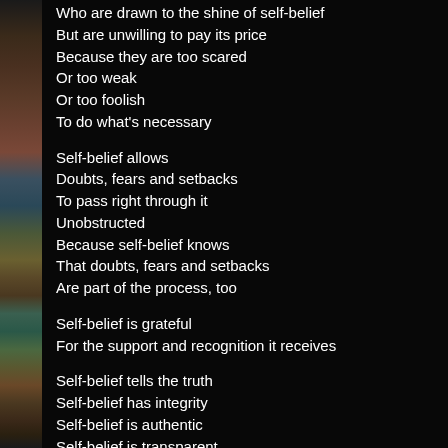Who are drawn to the shine of self-belief
But are unwilling to pay its price
Because they are too scared
Or too weak
Or too foolish
To do what's necessary

Self-belief allows
Doubts, fears and setbacks
To pass right through it
Unobstructed
Because self-belief knows
That doubts, fears and setbacks
Are part of the process, too

Self-belief is grateful
For the support and recognition it receives

Self-belief tells the truth
Self-belief has integrity
Self-belief is authentic
Self-belief is transparent

The more transparent a person's self-belief is
The stronger it is